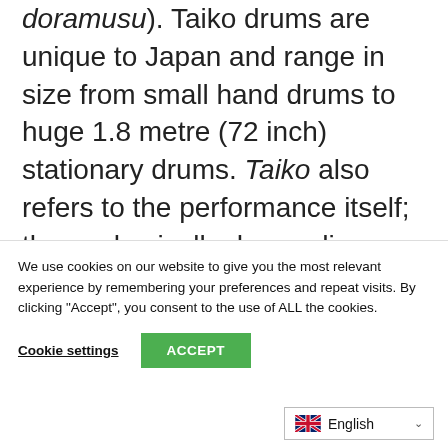doramusu). Taiko drums are unique to Japan and range in size from small hand drums to huge 1.8 metre (72 inch) stationary drums. Taiko also refers to the performance itself; these physically demanding instruments can be played solo or in a kumi daiko ensemble and are very common at festivals.

Traditional Japanese music can be divided into...
We use cookies on our website to give you the most relevant experience by remembering your preferences and repeat visits. By clicking "Accept", you consent to the use of ALL the cookies.
Cookie settings  ACCEPT
English